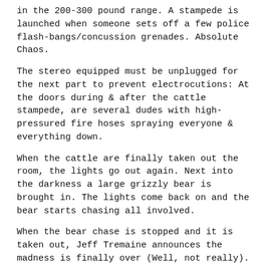in the 200-300 pound range. A stampede is launched when someone sets off a few police flash-bangs/concussion grenades. Absolute Chaos.
The stereo equipped must be unplugged for the next part to prevent electrocutions: At the doors during & after the cattle stampede, are several dudes with high-pressured fire hoses spraying everyone & everything down.
When the cattle are finally taken out the room, the lights go out again. Next into the darkness a large grizzly bear is brought in. The lights come back on and the bear starts chasing all involved.
When the bear chase is stopped and it is taken out, Jeff Tremaine announces the madness is finally over (Well, not really).
Tremaine asks the Jackass to pose together for a 'photographer' to take 3 photos. The first 2 go peacefully. On the 3rd take however, the guys dont know that while their ass sides are facing the other side of the room, at the other end of room planted for the whole